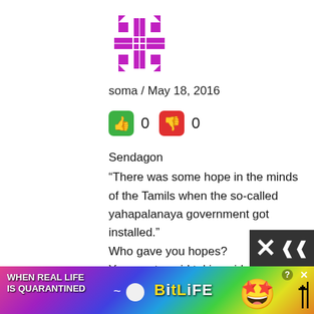[Figure (logo): Purple geometric snowflake-like avatar icon]
soma / May 18, 2016
[Figure (other): Green thumbs-up vote button with count 0, red thumbs-down vote button with count 0]
Sendagon
“There was some hope in the minds of the Tamils when the so-called yahapalanaya government got installed.”
Who gave you hopes?
You must avoid taking sides within cut-throat hate mongering politics among the Sinhalese. As it stands more than 50% of the Sinhala electorate have voted for
[Figure (other): BitLife advertisement banner with rainbow gradient background, star-eyes emoji, and masked emoji]